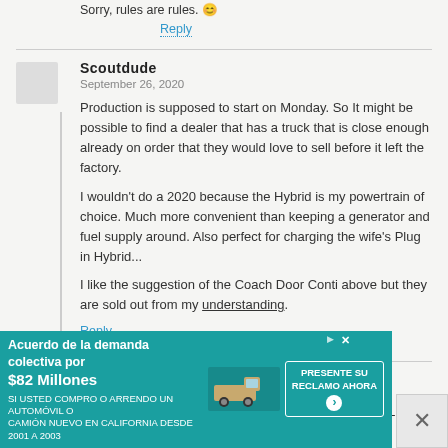Sorry, rules are rules. 😊
Reply
Scoutdude
September 26, 2020
Production is supposed to start on Monday. So It might be possible to find a dealer that has a truck that is close enough already on order that they would love to sell before it left the factory.
I wouldn't do a 2020 because the Hybrid is my powertrain of choice. Much more convenient than keeping a generator and fuel supply around. Also perfect for charging the wife's Plug in Hybrid...
I like the suggestion of the Coach Door Conti above but they are sold out from my understanding.
Reply
Jim Klein
September 26, 2020
Never mind, it's not Monday yet. No soup for you. 🙂 Thanks for playing!
[Figure (infographic): Advertisement banner in teal/green color. Text: Acuerdo de la demanda colectiva por $82 Millones. SI USTED COMPRO O ARRENDO UN AUTOMÓVIL O CAMIÓN NUEVO EN CALIFORNIA DESDE 2001 A 2003. Image of a truck. Button: PRESENTE SU RECLAMO AHORA with arrow icon.]